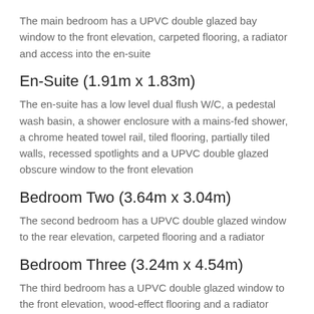The main bedroom has a UPVC double glazed bay window to the front elevation, carpeted flooring, a radiator and access into the en-suite
En-Suite (1.91m x 1.83m)
The en-suite has a low level dual flush W/C, a pedestal wash basin, a shower enclosure with a mains-fed shower, a chrome heated towel rail, tiled flooring, partially tiled walls, recessed spotlights and a UPVC double glazed obscure window to the front elevation
Bedroom Two (3.64m x 3.04m)
The second bedroom has a UPVC double glazed window to the rear elevation, carpeted flooring and a radiator
Bedroom Three (3.24m x 4.54m)
The third bedroom has a UPVC double glazed window to the front elevation, wood-effect flooring and a radiator